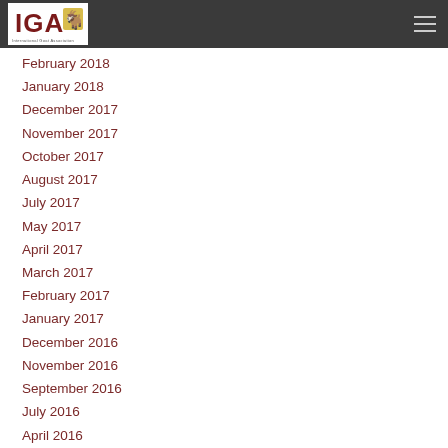IGA - International Goat Association
February 2018
January 2018
December 2017
November 2017
October 2017
August 2017
July 2017
May 2017
April 2017
March 2017
February 2017
January 2017
December 2016
November 2016
September 2016
July 2016
April 2016